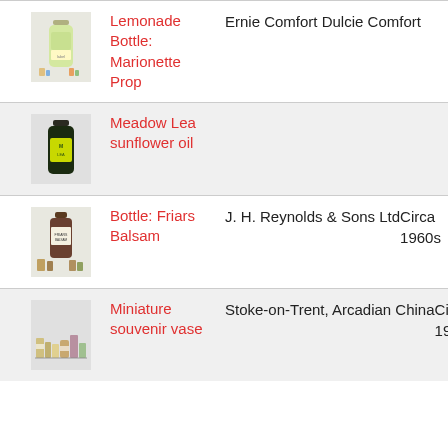| Image | Item | Col2 | Col3 |
| --- | --- | --- | --- |
| [bottle image] | Lemonade Bottle: Marionette Prop | Ernie Comfort Dulcie Comfort |  |
| [oil image] | Meadow Lea sunflower oil |  |  |
| [balsam image] | Bottle: Friars Balsam | J. H. Reynolds & Sons Ltd | Circa 1960s |
| [vase image] | Miniature souvenir vase | Stoke-on-Trent, Arcadian China | Circa 1950s |